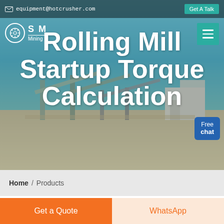equipment@hotcrusher.com   Get A Talk
[Figure (screenshot): Hero banner image showing industrial mining/crushing equipment facility with conveyors and machinery against a blue sky, overlaid with large white bold text reading 'Rolling Mill Startup Torque Calculation']
Rolling Mill Startup Torque Calculation
Free chat
Home / Products
Different Machines To Meet All
Get a Quote
WhatsApp